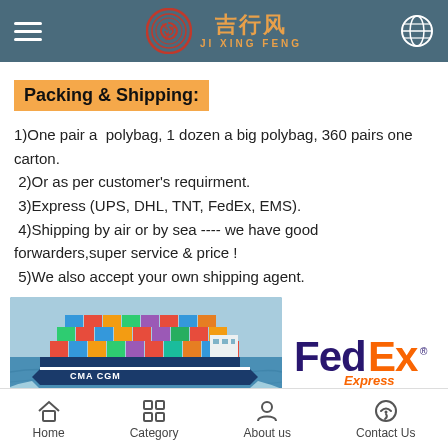吉行风 JI XING FENG
Packing & Shipping:
1)One pair a  polybag, 1 dozen a big polybag, 360 pairs one carton.
 2)Or as per customer's requirment.
 3)Express (UPS, DHL, TNT, FedEx, EMS).
 4)Shipping by air or by sea ---- we have good forwarders,super service & price !
 5)We also accept your own shipping agent.
[Figure (photo): CMA CGM container cargo ship at sea]
[Figure (logo): FedEx Express logo]
Home  Category  About us  Contact Us